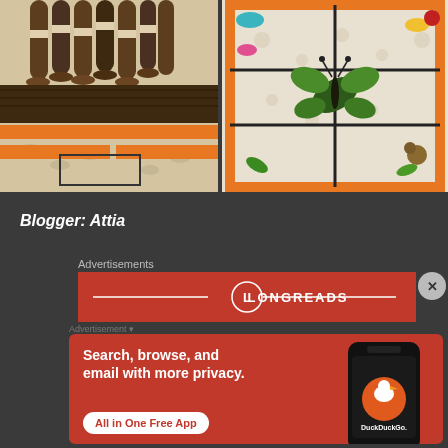[Figure (photo): Photo of brown cylindrical containers/rolls with labels stacked on a surface with orange and white decorative background]
[Figure (photo): Photo of a craft/scrapbook layout with orange borders, butterfly decoration, and colorful leaf/flower embellishments on white floral background]
Blogger: Attia
Advertisements
[Figure (logo): Longreads advertisement banner with red background, L in circle logo and LONGREADS text]
[Figure (infographic): DuckDuckGo advertisement: orange-red background with text 'Search, browse, and email with more privacy. All in One Free App' and phone mockup with DuckDuckGo logo]